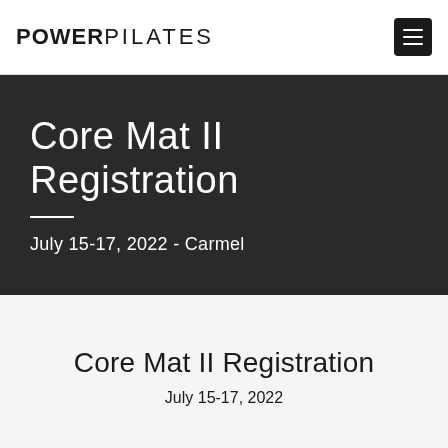POWERPILATES
Core Mat II Registration
July 15-17, 2022 - Carmel
Core Mat II Registration
July 15-17, 2022